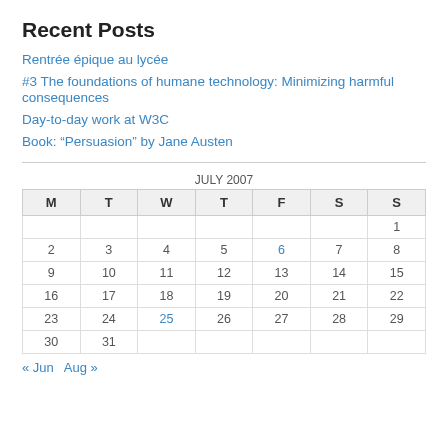Recent Posts
Rentrée épique au lycée
#3 The foundations of humane technology: Minimizing harmful consequences
Day-to-day work at W3C
Book: “Persuasion” by Jane Austen
| M | T | W | T | F | S | S |
| --- | --- | --- | --- | --- | --- | --- |
|  |  |  |  |  |  | 1 |
| 2 | 3 | 4 | 5 | 6 | 7 | 8 |
| 9 | 10 | 11 | 12 | 13 | 14 | 15 |
| 16 | 17 | 18 | 19 | 20 | 21 | 22 |
| 23 | 24 | 25 | 26 | 27 | 28 | 29 |
| 30 | 31 |  |  |  |  |  |
« Jun   Aug »